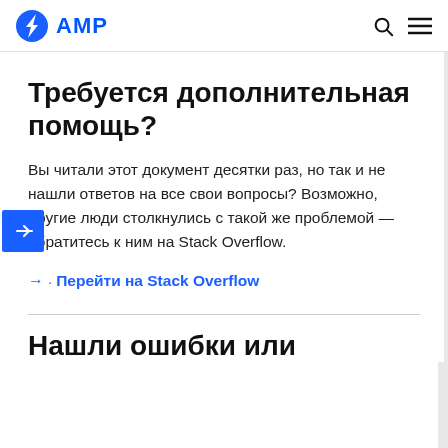AMP
Требуется дополнительная помощь?
Вы читали этот документ десятки раз, но так и не нашли ответов на все свои вопросы? Возможно, другие люди столкнулись с такой же проблемой — обратитесь к ним на Stack Overflow.
→ Перейти на Stack Overflow
Нашли ошибки или